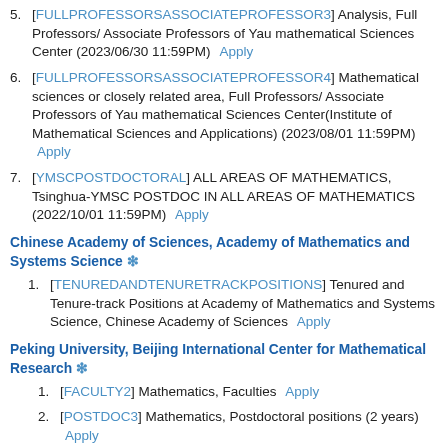5. [FULLPROFESSORSASSOCIATEPROFESSOR3] Analysis, Full Professors/ Associate Professors of Yau mathematical Sciences Center (2023/06/30 11:59PM) Apply
6. [FULLPROFESSORSASSOCIATEPROFESSOR4] Mathematical sciences or closely related area, Full Professors/ Associate Professors of Yau mathematical Sciences Center(Institute of Mathematical Sciences and Applications) (2023/08/01 11:59PM) Apply
7. [YMSCPOSTDOCTORAL] ALL AREAS OF MATHEMATICS, Tsinghua-YMSC POSTDOC IN ALL AREAS OF MATHEMATICS (2022/10/01 11:59PM) Apply
Chinese Academy of Sciences, Academy of Mathematics and Systems Science ❇
1. [TENUREDANDTENURETRACKPOSITIONS] Tenured and Tenure-track Positions at Academy of Mathematics and Systems Science, Chinese Academy of Sciences Apply
Peking University, Beijing International Center for Mathematical Research ❇
1. [FACULTY2] Mathematics, Faculties Apply
2. [POSTDOC3] Mathematics, Postdoctoral positions (2 years) Apply
3. [POSTDOC4] Postdoctoral Fellowship in Statistics Apply
Peking University, Center for Machine Learning Research (CMLR) ❇